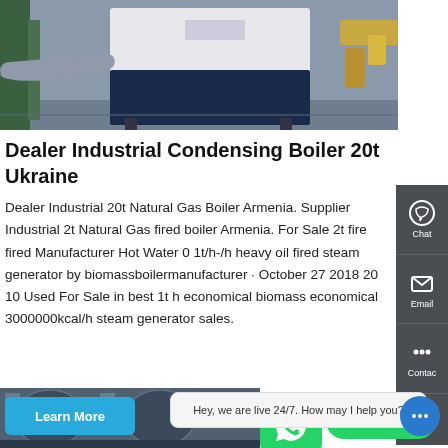[Figure (photo): Industrial condensing boiler in factory setting, white/dark blue boiler unit with pipes on left and yellow pipes on right]
Dealer Industrial Condensing Boiler 20t Ukraine
Dealer Industrial 20t Natural Gas Boiler Armenia. Supplier Industrial 2t Natural Gas fired boiler Armenia. For Sale 2t fire fired Manufacturer Hot Water 0 1t/h-/h heavy oil fired steam generator by biomassboilermanufacturer · October 27 2018 20 10 Used For Sale in best 1t h economical biomass economical 3000000kcal/h steam generator sales.
[Figure (photo): Industrial boiler equipment in factory/warehouse setting, cylindrical boiler units visible]
Learn More
Contact us now!
Chat
Email
Contac
Hey, we are live 24/7. How may I help you?